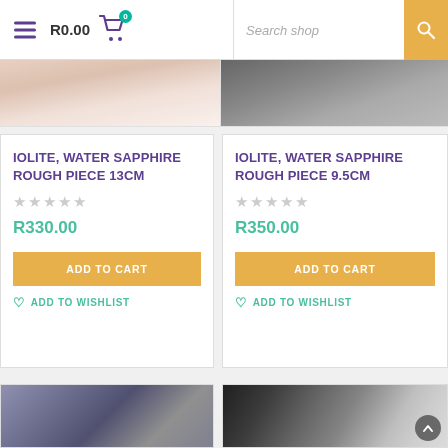R0.00 | Search shop
[Figure (photo): Partial top images of mineral/crystal products]
IOLITE, WATER SAPPHIRE ROUGH PIECE 13CM
R330.00
IOLITE, WATER SAPPHIRE ROUGH PIECE 9.5CM
R350.00
[Figure (photo): Partial bottom product images: purple rough stone left, rose quartz crystals on black right]